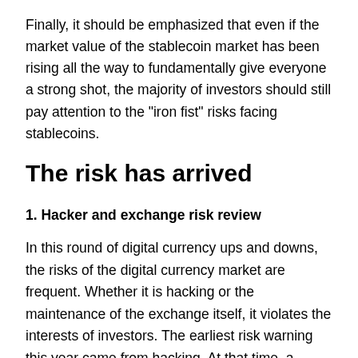Finally, it should be emphasized that even if the market value of the stablecoin market has been rising all the way to fundamentally give everyone a strong shot, the majority of investors should still pay attention to the "iron fist" risks facing stablecoins.
The risk has arrived
1. Hacker and exchange risk review
In this round of digital currency ups and downs, the risks of the digital currency market are frequent. Whether it is hacking or the maintenance of the exchange itself, it violates the interests of investors. The earliest risk warning this year came from hacking. At that time, a famous trader on Twitter issued a warning. He was suspended for a